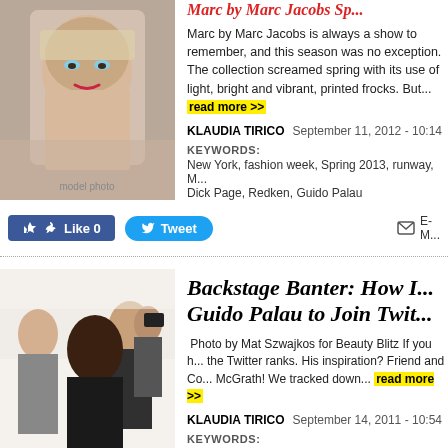[Figure (photo): Close-up photo of a model with blue eyes, red lips, and blonde hair at a fashion show.]
Marc by Marc Jacobs Sp...
Marc by Marc Jacobs is always a show to remember, and this season was no exception. The collection screamed spring with its use of light, bright and vibrant, printed frocks. But... read more >>
KLAUDIA TIRICO   September 11, 2012 - 10:14
KEYWORDS:
New York, fashion week, Spring 2013, runway, M... Dick Page, Redken, Guido Palau
[Figure (screenshot): Social sharing buttons: Like 0 (Facebook), Tweet (Twitter), and E-Mail icon with M...]
[Figure (photo): Backstage photo at a fashion show with models and photographers in a bright room.]
Backstage Banter: How I... Guido Palau to Join Twit...
Photo by Mat Szwajkos for Beauty Blitz If you h... the Twitter ranks. His inspiration? Friend and Co... McGrath! We tracked down... read more >>
KLAUDIA TIRICO   September 14, 2011 - 10:54
KEYWORDS:
Pat McGrath, Guido Palau, Twitter, backstage